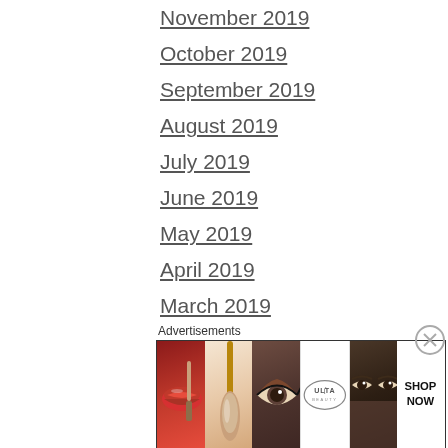November 2019
October 2019
September 2019
August 2019
July 2019
June 2019
May 2019
April 2019
March 2019
February 2019
January 2019
December 2018
Advertisements
[Figure (illustration): Ulta Beauty advertisement banner showing makeup imagery including lips with lipstick, a makeup brush, an eye with eyeshadow, the Ulta Beauty logo, dramatic eye makeup, and a 'SHOP NOW' call to action.]